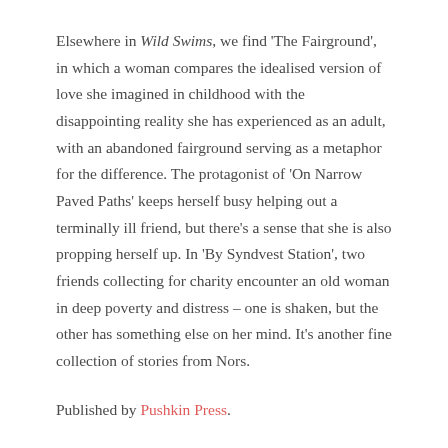Elsewhere in Wild Swims, we find 'The Fairground', in which a woman compares the idealised version of love she imagined in childhood with the disappointing reality she has experienced as an adult, with an abandoned fairground serving as a metaphor for the difference. The protagonist of 'On Narrow Paved Paths' keeps herself busy helping out a terminally ill friend, but there's a sense that she is also propping herself up. In 'By Syndvest Station', two friends collecting for charity encounter an old woman in deep poverty and distress – one is shaken, but the other has something else on her mind. It's another fine collection of stories from Nors.
Published by Pushkin Press.
Lasley Christen Blasted Things (2020)